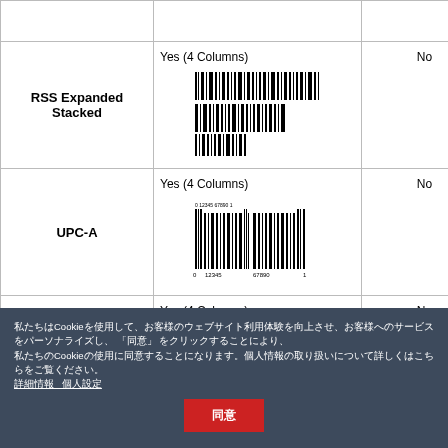|  | Supported (Columns) | Multi-Row |
| --- | --- | --- |
| RSS Expanded Stacked | Yes (4 Columns) | No |
| UPC-A | Yes (4 Columns) | No |
| EAN 13 | Yes (4 Columns) | No |
私たちはCookieを使用して、お客様のウェブサイト利用体験を向上させ、お客様へのサービスをパーソナライズし、 "同意" をクリックすることにより、私たちのCookieの使用に同意することになります。個人情報の取り扱いについて詳しくはこちらをご覧ください。 詳細情報 個人設定
同意